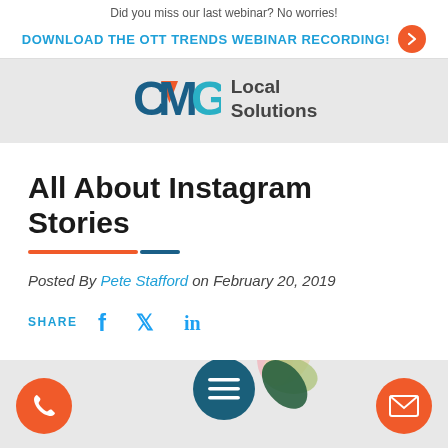Did you miss our last webinar? No worries!
DOWNLOAD THE OTT TRENDS WEBINAR RECORDING!
[Figure (logo): CMG Local Solutions logo with stylized CMG letters in blue, orange, and teal, followed by 'Local Solutions' text]
All About Instagram Stories
Posted By Pete Stafford on February 20, 2019
SHARE [Facebook] [Twitter] [LinkedIn]
[Figure (screenshot): Bottom navigation bar with phone button (orange circle), hamburger menu button (dark teal circle), and email button (orange circle). Partial decorative floral image visible.]